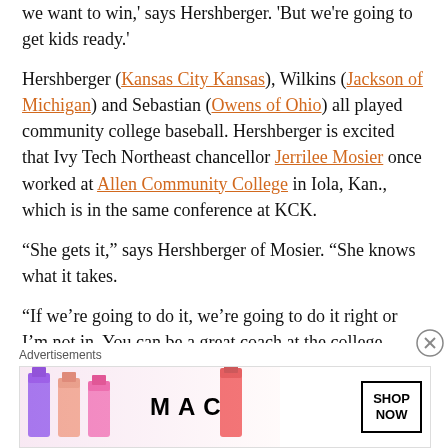we want to win,' says Hershberger. 'But we're going to get kids ready.'
Hershberger (Kansas City Kansas), Wilkins (Jackson of Michigan) and Sebastian (Owens of Ohio) all played community college baseball. Hershberger is excited that Ivy Tech Northeast chancellor Jerrilee Mosier once worked at Allen Community College in Iola, Kan., which is in the same conference at KCK.
“She gets it,” says Hershberger of Mosier. “She knows what it takes.
“If we’re going to do it, we’re going to do it right or I’m not in. You can be a great coach at the college level, but if you don’t have the resources to get players it doesn’t matter.”
[Figure (advertisement): MAC cosmetics advertisement showing lipsticks in purple, pink and red shades with MAC logo and SHOP NOW button]